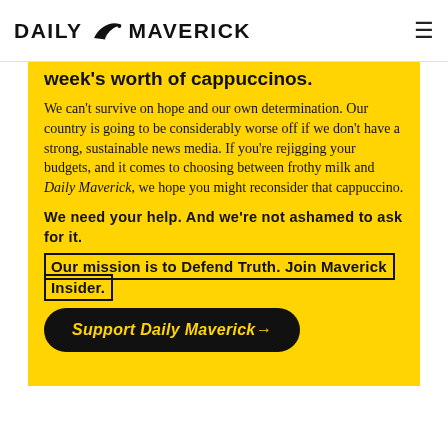DAILY MAVERICK
week's worth of cappuccinos.
We can't survive on hope and our own determination. Our country is going to be considerably worse off if we don't have a strong, sustainable news media. If you're rejigging your budgets, and it comes to choosing between frothy milk and Daily Maverick, we hope you might reconsider that cappuccino.
We need your help. And we're not ashamed to ask for it.
Our mission is to Defend Truth. Join Maverick Insider.
Support Daily Maverick →